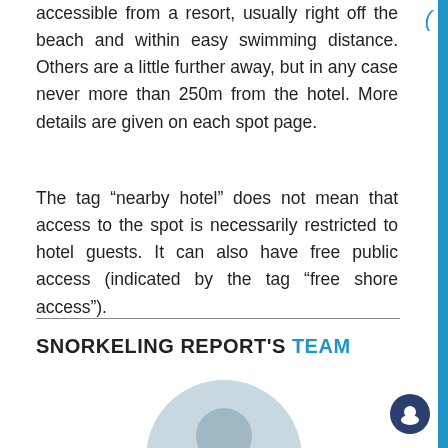Most of these spots are house reefs, sites that are easily accessible from a resort, usually right off the beach and within easy swimming distance. Others are a little further away, but in any case never more than 250m from the hotel. More details are given on each spot page.
The tag “nearby hotel” does not mean that access to the spot is necessarily restricted to hotel guests. It can also have free public access (indicated by the tag “free shore access”).
SNORKELING REPORT'S TEAM
[Figure (photo): Circular portrait photo of a person, partially visible at bottom of page]